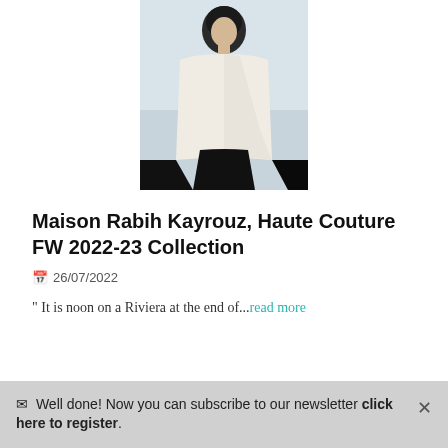[Figure (photo): Fashion photo of a person wearing a white/cream cape or coat over a black outfit, photographed against a light blue-grey background]
Maison Rabih Kayrouz, Haute Couture FW 2022-23 Collection
26/07/2022
" It is noon on a Riviera at the end of...read more
✉ Well done! Now you can subscribe to our newsletter click here to register.